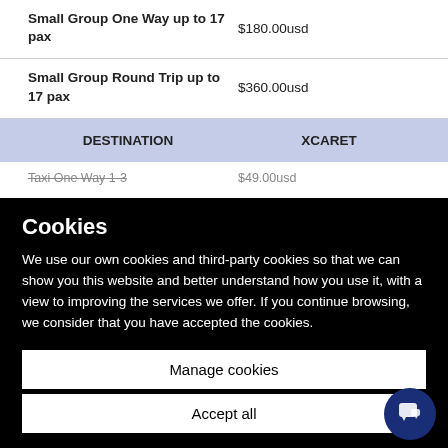| Service | Price |
| --- | --- |
| Small Group One Way up to 17 pax | $180.00usd |
| Small Group Round Trip up to 17 pax | $360.00usd |
| DESTINATION | XCARET |
| --- | --- |
| Taxi One Way 1-3... | $49.00usd |
Cookies
We use our own cookies and third-party cookies so that we can show you this website and better understand how you use it, with a view to improving the services we offer. If you continue browsing, we consider that you have accepted the cookies.
Manage cookies
Accept all